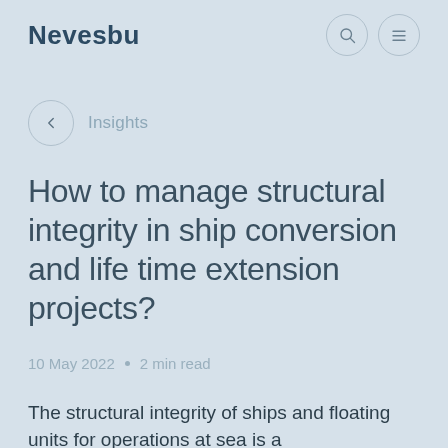Nevesbu
Insights
How to manage structural integrity in ship conversion and life time extension projects?
10 May 2022 • 2 min read
The structural integrity of ships and floating units for operations at sea is a